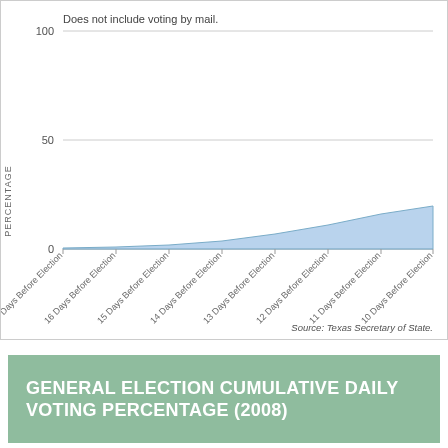[Figure (area-chart): ]
Does not include voting by mail.
Source: Texas Secretary of State.
GENERAL ELECTION CUMULATIVE DAILY VOTING PERCENTAGE (2008)